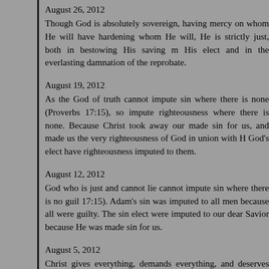August 26, 2012
Though God is absolutely sovereign, having mercy on whom He will have hardening whom He will, He is strictly just, both in bestowing His saving m His elect and in the everlasting damnation of the reprobate.
August 19, 2012
As the God of truth cannot impute sin where there is none (Proverbs 17:15), so impute righteousness where there is none. Because Christ took away our made sin for us, and made us the very righteousness of God in union with H God's elect have righteousness imputed to them.
August 12, 2012
God who is just and cannot lie cannot impute sin where there is no guil 17:15). Adam's sin was imputed to all men because all were guilty. The sin elect were imputed to our dear Savior because He was made sin for us.
August 5, 2012
Christ gives everything, demands everything, and deserves everything. Let m submit everything to His will and devote everything to His service.
July 15, 2012
“Adorn the doctrine of God our Savior in all things.” Titus 2:1-15 tells us how